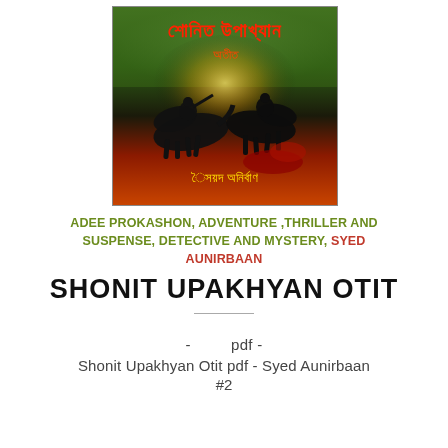[Figure (illustration): Book cover of 'Shonit Upakhyan Otit' by Syed Aunirbaan — a dark dramatic illustration showing warriors on horseback with Bengali script title and author name on a green, red, and orange background.]
ADEE PROKASHON, ADVENTURE ,THRILLER AND SUSPENSE, DETECTIVE AND MYSTERY, SYED AUNIRBAAN
SHONIT UPAKHYAN OTIT
- pdf -
Shonit Upakhyan Otit pdf - Syed Aunirbaan
#2